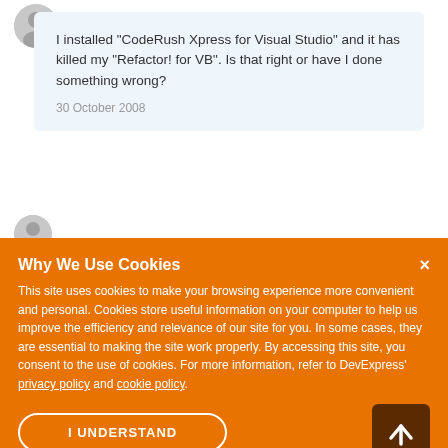[Figure (illustration): User avatar circle icon (grey silhouette)]
I installed "CodeRush Xpress for Visual Studio" and it has killed my "Refactor! for VB". Is that right or have I done something wrong?
30 October 2008
[Figure (illustration): Second user avatar circle icon (grey silhouette), partially visible]
Why We Use Cookies
This site uses cookies to make your browsing experience more convenient and personal. Cookies store useful information on your computer to help us improve the efficiency and relevance of our site for you. In some cases, they are essential to making the site work properly. By accessing this site, you consent to the use of cookies. For more information, refer to DevExpress' privacy policy and cookie policy.
I UNDERSTAND